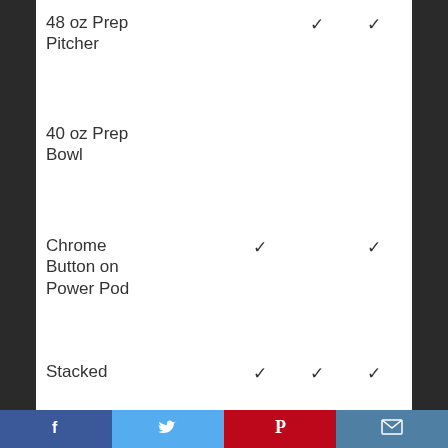| Feature | Col1 | Col2 | Col3 |
| --- | --- | --- | --- |
| 48 oz Prep Pitcher | ✓ |  | ✓ |
| 40 oz Prep Bowl |  |  |  |
| Chrome Button on Power Pod | ✓ |  | ✓ |
| Stacked | ✓ | ✓ | ✓ |
[Figure (other): Social sharing footer bar with Facebook, Twitter, Pinterest, and Email icons]